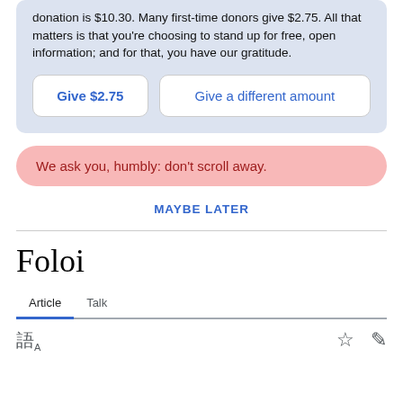donation is $10.30. Many first-time donors give $2.75. All that matters is that you're choosing to stand up for free, open information; and for that, you have our gratitude.
Give $2.75
Give a different amount
We ask you, humbly: don't scroll away.
MAYBE LATER
Foloi
Article  Talk